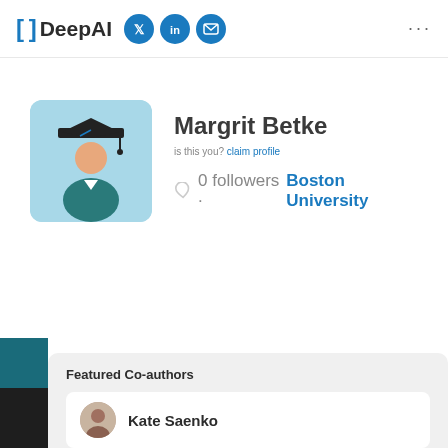[ ] DeepAI
Margrit Betke is this you? claim profile
0 followers · Boston University
Featured Co-authors
Kate Saenko